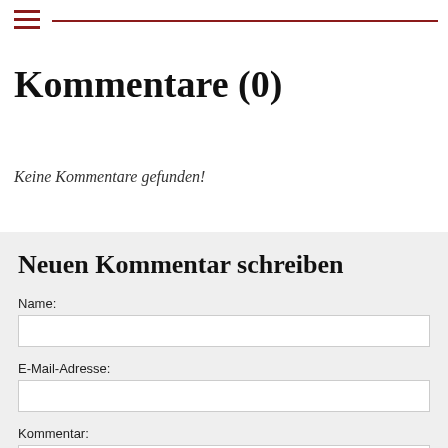Kommentare (0)
Keine Kommentare gefunden!
Neuen Kommentar schreiben
Name:
E-Mail-Adresse:
Kommentar: